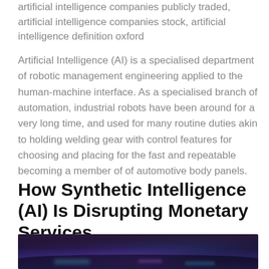artificial intelligence companies publicly traded, artificial intelligence companies stock, artificial intelligence definition oxford
Artificial Intelligence (AI) is a specialised department of robotic management engineering applied to the human-machine interface. As a specialised branch of automation, industrial robots have been around for a very long time, and used for many routine duties akin to holding welding gear with control features for choosing and placing for the fast and repeatable becoming a member of of automotive body panels.
How Synthetic Intelligence (AI) Is Disrupting Monetary Services
[Figure (photo): Dark photo of a crowd or event space with colorful purple and blue neon/LED lighting visible]